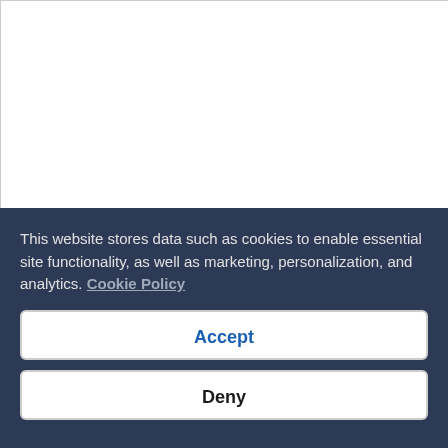[Figure (screenshot): White empty map or image area at the top of the page]
Kuala Lumpur
Ge
Car Hire Offers in Malaysia
Economy
This website stores data such as cookies to enable essential site functionality, as well as marketing, personalization, and analytics. Cookie Policy
Accept
Deny